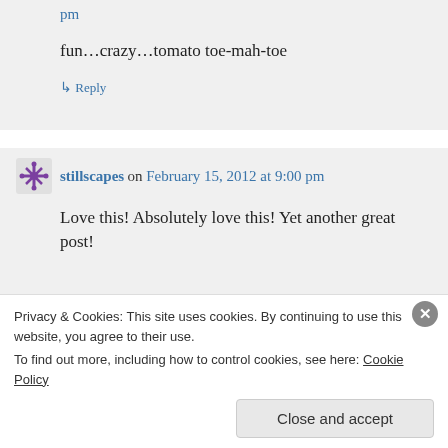pm
fun…crazy…tomato toe-mah-toe
↳ Reply
stillscapes on February 15, 2012 at 9:00 pm
Love this! Absolutely love this! Yet another great post!
Privacy & Cookies: This site uses cookies. By continuing to use this website, you agree to their use. To find out more, including how to control cookies, see here: Cookie Policy
Close and accept